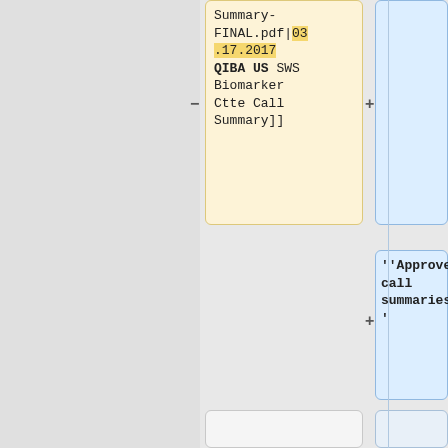Summary-FINAL.pdf|03.17.2017 QIBA US SWS Biomarker Ctte Call Summary]]
'''Approved call summaries:'''
*[[Media:01 20 2017 QIBA US SWS BC Call Summary-FINAL.pdf|01.20.2017 QIBA US SWS
*[[Media:05 11 2022 QIBA US SWS BC Call Summary-FINAL.pdf | May 11, 2022]]